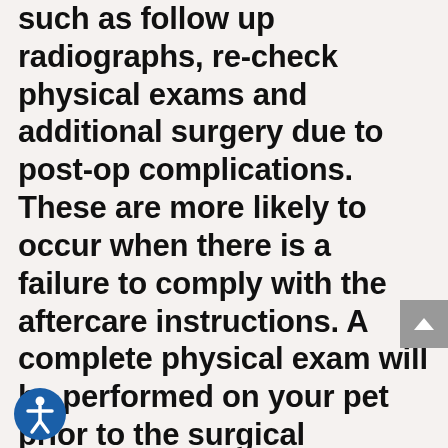such as follow up radiographs, re-check physical exams and additional surgery due to post-op complications. These are more likely to occur when there is a failure to comply with the aftercare instructions. A complete physical exam will be performed on your pet prior to the surgical procedure if it has been longer than 30 days since the last exam. However, this may not